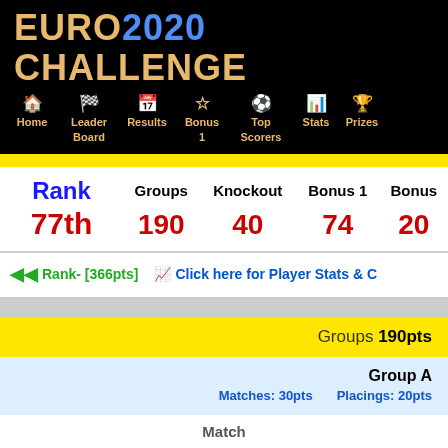EURO2020 CHALLENGE
Home | Leader Board | Results | Bonus 1 | Top Scorers | Stats | Prizes
| Rank | Groups | Knockout | Bonus 1 | Bonus |
| --- | --- | --- | --- | --- |
| 77th | 190 | 40 | 74 | 20 |
Rank- [366pts]  Click here for Player Stats & C
| Groups 190pts |
| --- |
| Group A | Matches: 30pts | Placings: 20pts |
| Match |  |  |
Match